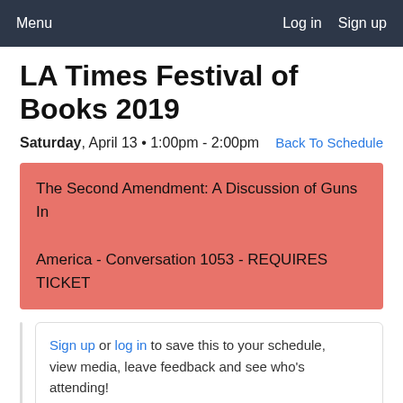Menu   Log in   Sign up
LA Times Festival of Books 2019
Saturday, April 13 • 1:00pm - 2:00pm   Back To Schedule
The Second Amendment: A Discussion of Guns In America - Conversation 1053 - REQUIRES TICKET
Sign up or log in to save this to your schedule, view media, leave feedback and see who's attending!
Tweet   Share